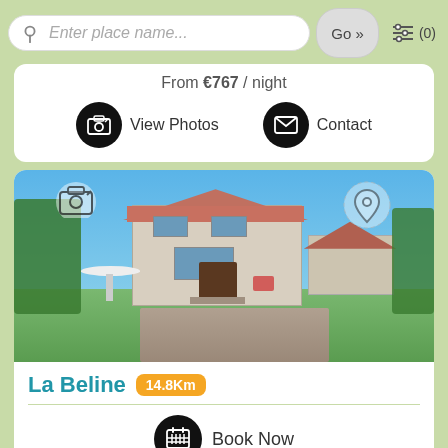Enter place name...
Go »
(0)
From €767 / night
View Photos
Contact
[Figure (photo): Stone farmhouse with terracotta tile roof, blue shutters, outdoor umbrella seating, gravel driveway, green lawn, trees and clear blue sky. Camera icon overlay top-left, map pin icon overlay top-right.]
La Beline 14.8Km
Book Now